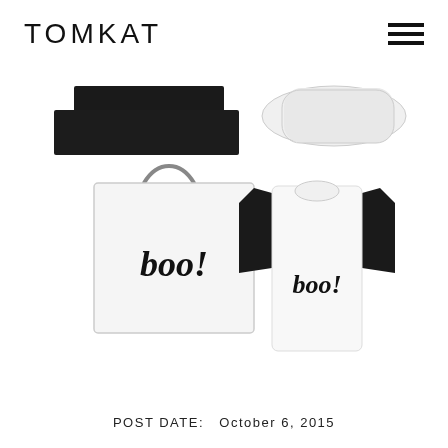TOMKAT
[Figure (photo): Product photo collage showing Halloween-themed items: a black folded item (top left), a white pillow (top right), a white tote bag with 'boo!' written in script (bottom left), and a black and white baseball raglan shirt with 'boo!' written in script (bottom right).]
POST DATE:   October 6, 2015